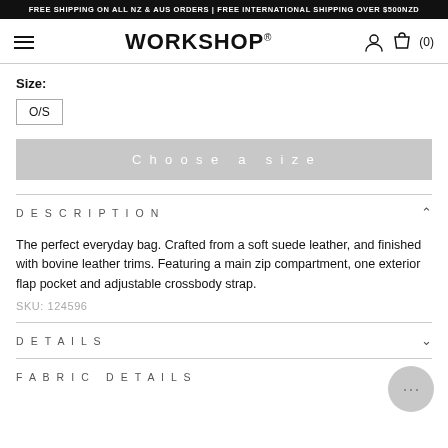FREE SHIPPING ON ALL NZ & AUS ORDERS | FREE INTERNATIONAL SHIPPING OVER $500NZD
WORKSHOP® (0)
Size:
O/S
Choose a size
DESCRIPTION
The perfect everyday bag. Crafted from a soft suede leather, and finished with bovine leather trims. Featuring a main zip compartment, one exterior flap pocket and adjustable crossbody strap.
SKU: 124596
DETAILS
FABRIC DETAILS